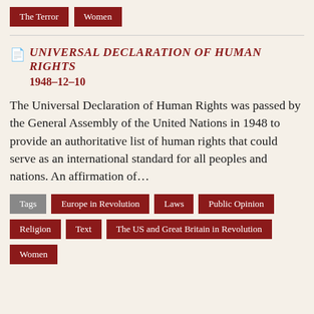The Terror
Women
Universal Declaration of Human Rights 1948-12-10
The Universal Declaration of Human Rights was passed by the General Assembly of the United Nations in 1948 to provide an authoritative list of human rights that could serve as an international standard for all peoples and nations. An affirmation of...
Tags
Europe in Revolution
Laws
Public Opinion
Religion
Text
The US and Great Britain in Revolution
Women